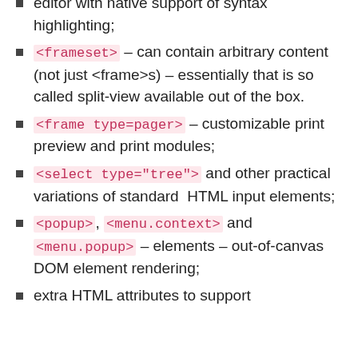editor with native support of syntax highlighting;
<frameset> – can contain arbitrary content (not just <frame>s) – essentially that is so called split-view available out of the box.
<frame type=pager> – customizable print preview and print modules;
<select type="tree"> and other practical variations of standard HTML input elements;
<popup>, <menu.context> and <menu.popup> – elements – out-of-canvas DOM element rendering;
extra HTML attributes to support